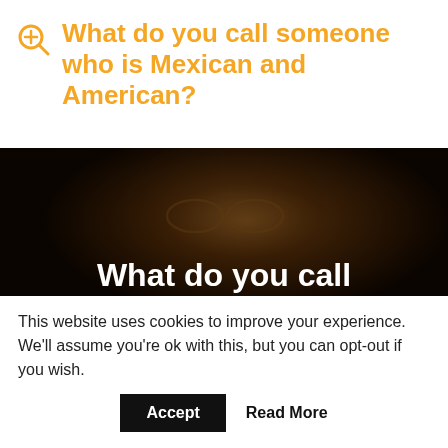What do you call someone who is Mexican and American?
[Figure (photo): Dark photograph of a person's face with glasses in low lighting. White bold text overlaid reads 'What do you call someone who is Mexican and' with text cut off at bottom.]
This website uses cookies to improve your experience. We'll assume you're ok with this, but you can opt-out if you wish.
Accept   Read More